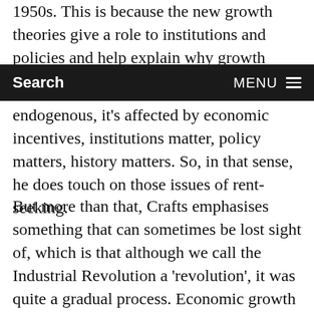1950s. This is because the new growth theories give a role to institutions and policies and help explain why growth outcomes diverge across economies
Search   MENU
endogenous, it's affected by economic incentives, institutions matter, policy matters, history matters. So, in that sense, he does touch on those issues of rent-seeking.
But more than that, Crafts emphasises something that can sometimes be lost sight of, which is that although we call the Industrial Revolution a 'revolution', it was quite a gradual process. Economic growth in eighteenth-century Britain was slow compared to later periods, although fast compared to anything that had happened before. Occupational structures were relatively slow in changing, but that was partly because Britain already had quite a precociously industry- and service-oriented occupational structure before the